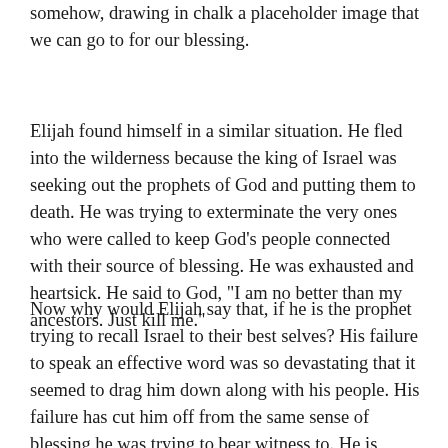somehow, drawing in chalk a placeholder image that we can go to for our blessing.
Elijah found himself in a similar situation. He fled into the wilderness because the king of Israel was seeking out the prophets of God and putting them to death. He was trying to exterminate the very ones who were called to keep God’s people connected with their source of blessing. He was exhausted and heartsick. He said to God, “I am no better than my ancestors. Just kill me.”
Now why would Elijah say that, if he is the prophet trying to recall Israel to their best selves? His failure to speak an effective word was so devastating that it seemed to drag him down along with his people. His failure has cut him off from the same sense of blessing he was trying to bear witness to. He is exhausted and heartsick. So what does God do about this? Well, the first thing God does…is feed